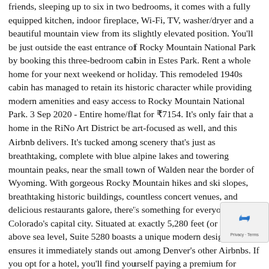friends, sleeping up to six in two bedrooms, it comes with a fully equipped kitchen, indoor fireplace, Wi-Fi, TV, washer/dryer and a beautiful mountain view from its slightly elevated position. You'll be just outside the east entrance of Rocky Mountain National Park by booking this three-bedroom cabin in Estes Park. Rent a whole home for your next weekend or holiday. This remodeled 1940s cabin has managed to retain its historic character while providing modern amenities and easy access to Rocky Mountain National Park. 3 Sep 2020 - Entire home/flat for ₹7154. It's only fair that a home in the RiNo Art District be art-focused as well, and this Airbnb delivers. It's tucked among scenery that's just as breathtaking, complete with blue alpine lakes and towering mountain peaks, near the small town of Walden near the border of Wyoming. With gorgeous Rocky Mountain hikes and ski slopes, breathtaking historic buildings, countless concert venues, and delicious restaurants galore, there's something for everyone in Colorado's capital city. Situated at exactly 5,280 feet (or one mile) above sea level, Suite 5280 boasts a unique modern design that ensures it immediately stands out among Denver's other Airbnbs. If you opt for a hotel, you'll find yourself paying a premium for multiple rooms, especially at the pricey oceanfront hotels in Denver. As for the location, this Airbnb is situated in the D suburb of Mountain View. The Colorado Rockies are fame home of some of the most spectacular mountain scenery i country. Since it is situated in the RiNo Art District, it is n the tasty restaurants, trendy breweries, fantastic nightlife, and